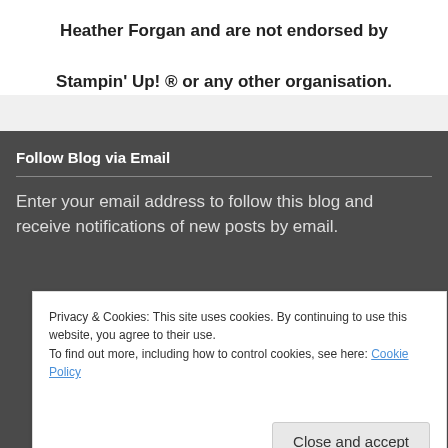Heather Forgan and are not endorsed by Stampin’ Up! ® or any other organisation.
Follow Blog via Email
Enter your email address to follow this blog and receive notifications of new posts by email.
Privacy & Cookies: This site uses cookies. By continuing to use this website, you agree to their use.
To find out more, including how to control cookies, see here: Cookie Policy